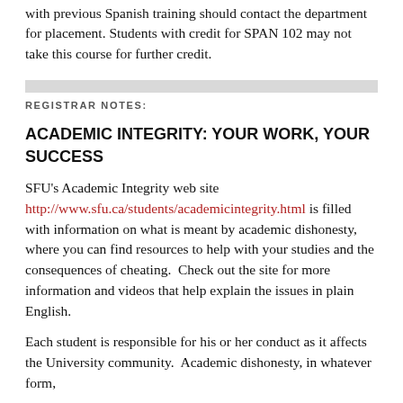with previous Spanish training should contact the department for placement. Students with credit for SPAN 102 may not take this course for further credit.
REGISTRAR NOTES:
ACADEMIC INTEGRITY: YOUR WORK, YOUR SUCCESS
SFU's Academic Integrity web site http://www.sfu.ca/students/academicintegrity.html is filled with information on what is meant by academic dishonesty, where you can find resources to help with your studies and the consequences of cheating.  Check out the site for more information and videos that help explain the issues in plain English.
Each student is responsible for his or her conduct as it affects the University community.  Academic dishonesty, in whatever form,